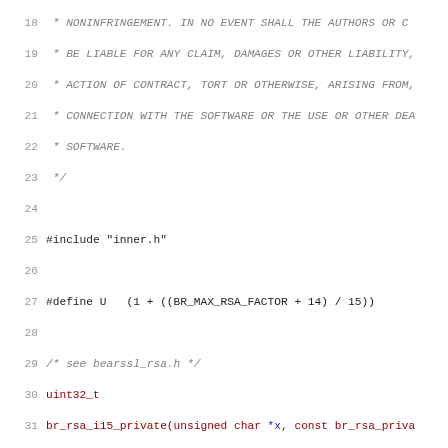Source code listing: br_rsa_i15_private function in C, lines 18-50, with comments and variable declarations